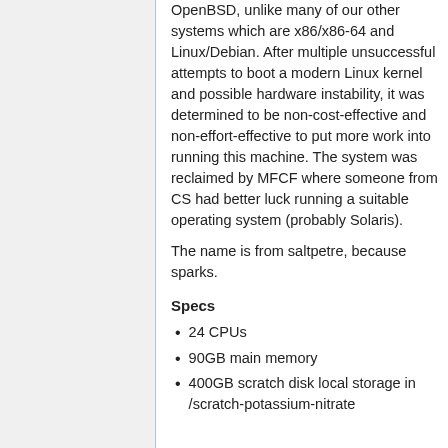OpenBSD, unlike many of our other systems which are x86/x86-64 and Linux/Debian. After multiple unsuccessful attempts to boot a modern Linux kernel and possible hardware instability, it was determined to be non-cost-effective and non-effort-effective to put more work into running this machine. The system was reclaimed by MFCF where someone from CS had better luck running a suitable operating system (probably Solaris).
The name is from saltpetre, because sparks.
Specs
24 CPUs
90GB main memory
400GB scratch disk local storage in /scratch-potassium-nitrate